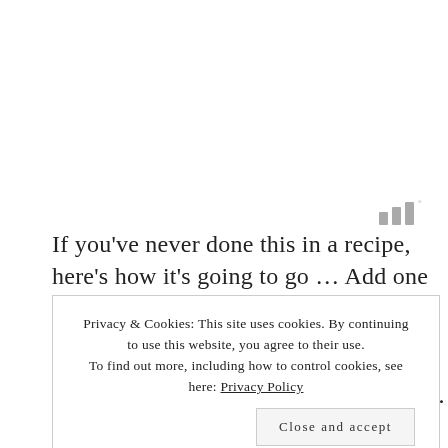[Figure (other): Signal/WiFi strength icon with 3 bars and a degree symbol, shown in grey]
If you've never done this in a recipe, here's how it's going to go … Add one batch of dry ingredients to the
Privacy & Cookies: This site uses cookies. By continuing to use this website, you agree to their use. To find out more, including how to control cookies, see here: Privacy Policy
Close and accept
ingredients, beat until just incorporated. Every time you